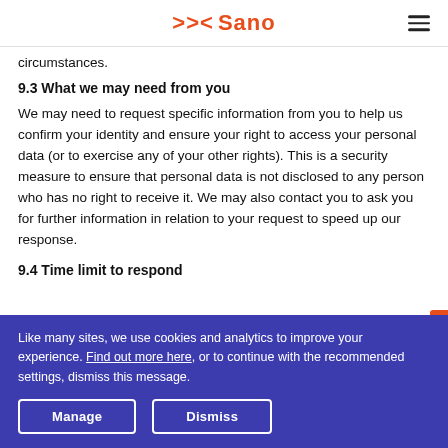Sano
circumstances.
9.3 What we may need from you
We may need to request specific information from you to help us confirm your identity and ensure your right to access your personal data (or to exercise any of your other rights). This is a security measure to ensure that personal data is not disclosed to any person who has no right to receive it. We may also contact you to ask you for further information in relation to your request to speed up our response.
9.4 Time limit to respond
Like many sites, we use cookies and analytics to improve your experience. Find out more here, or to continue with the recommended settings, dismiss this message.